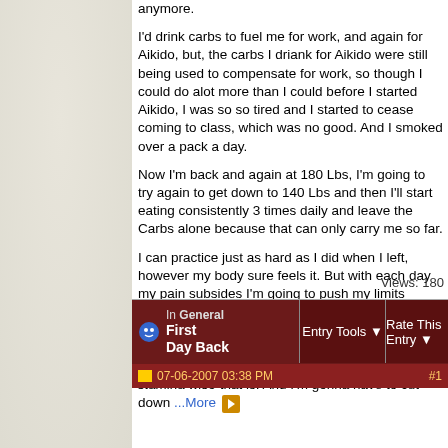anymore.

I'd drink carbs to fuel me for work, and again for Aikido, but, the carbs I driank for Aikido were still being used to compensate for work, so though I could do alot more than I could before I started Aikido, I was so so tired and I started to cease coming to class, which was no good. And I smoked over a pack a day.

Now I'm back and again at 180 Lbs, I'm going to try again to get down to 140 Lbs and then I'll start eating consistently 3 times daily and leave the Carbs alone because that can only carry me so far.

I can practice just as hard as I did when I left, however my body sure feels it. But with each day my pain subsides I'm going to push my limits farther. I'll practice technique slow enough to get the techniques right, but I'll jog to and from class, exersise mildly, and overdo rolls, Shikko, and push myself to try to be some kinda Achilles, fitness and stamina wise that is. And I'm gonna have to cut down ...More
Views: 180
| First Day Back | In General | Entry Tools | Rate This Entry |
| --- | --- | --- | --- |
| 07-06-2007 03:38 PM |  |  | # |
07-06-2007 03:38 PM